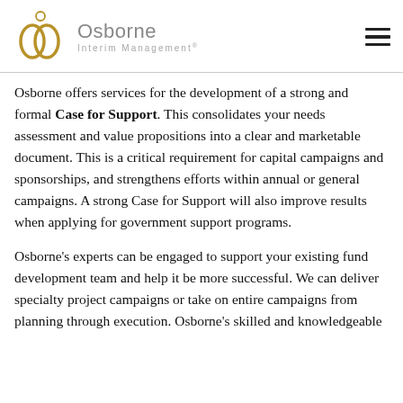Osborne Interim Management®
Osborne offers services for the development of a strong and formal Case for Support. This consolidates your needs assessment and value propositions into a clear and marketable document. This is a critical requirement for capital campaigns and sponsorships, and strengthens efforts within annual or general campaigns. A strong Case for Support will also improve results when applying for government support programs.
Osborne's experts can be engaged to support your existing fund development team and help it be more successful. We can deliver specialty project campaigns or take on entire campaigns from planning through execution. Osborne's skilled and knowledgeable...